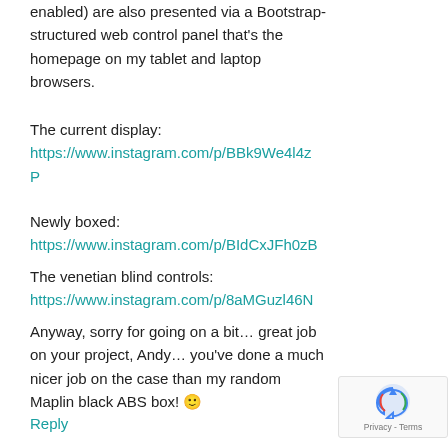enabled) are also presented via a Bootstrap-structured web control panel that's the homepage on my tablet and laptop browsers.
The current display:
https://www.instagram.com/p/BBk9We4l4zP
Newly boxed:
https://www.instagram.com/p/BIdCxJFh0zB
The venetian blind controls:
https://www.instagram.com/p/8aMGuzl46N
Anyway, sorry for going on a bit… great job on your project, Andy… you've done a much nicer job on the case than my random Maplin black ABS box! 🙂
Reply